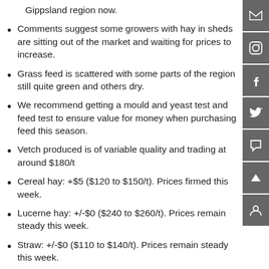Gippsland region now.
Comments suggest some growers with hay in sheds are sitting out of the market and waiting for prices to increase.
Grass feed is scattered with some parts of the region still quite green and others dry.
We recommend getting a mould and yeast test and feed test to ensure value for money when purchasing feed this season.
Vetch produced is of variable quality and trading at around $180/t
Cereal hay: +$5 ($120 to $150/t). Prices firmed this week.
Lucerne hay: +/-$0 ($240 to $260/t). Prices remain steady this week.
Straw: +/-$0 ($110 to $140/t). Prices remain steady this week.
Pasture hay: No supply reportedly available